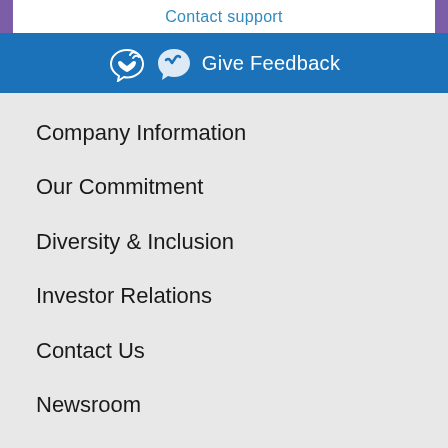Contact support
Give Feedback
Company Information
Our Commitment
Diversity & Inclusion
Investor Relations
Contact Us
Newsroom
Site Map
Jobs